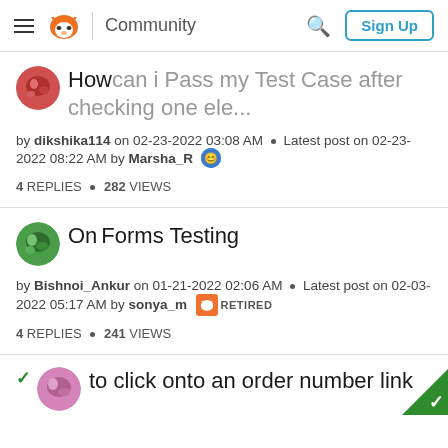Community | Sign Up
How can i Pass my Test Case after checking one ele...
by dikshika114 on 02-23-2022 03:08 AM • Latest post on 02-23-2022 08:22 AM by Marsha_R
4 REPLIES • 282 VIEWS
On Forms Testing
by Bishnoi_Ankur on 01-21-2022 02:06 AM • Latest post on 02-03-2022 05:17 AM by sonya_m RETIRED
4 REPLIES • 241 VIEWS
to click onto an order number link